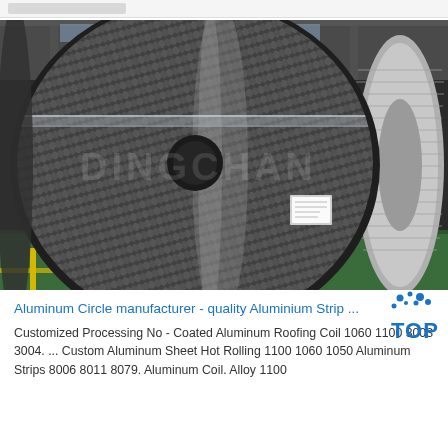[Figure (photo): Large rolls of aluminum diamond plate/checker plate coils in an industrial factory setting. The coils are metallic silver with a raised diamond pattern on the surface. Factory floor is green, background shows industrial ceiling and more coil rolls.]
Aluminum Circle manufacturer - quality Aluminium Strip ...
Customized Processing No - Coated Aluminum Roofing Coil 1060 1100 3003 3004. ... Custom Aluminum Sheet Hot Rolling 1100 1060 1050 Aluminum Strips 8006 8011 8079. Aluminum Coil. Alloy 1100